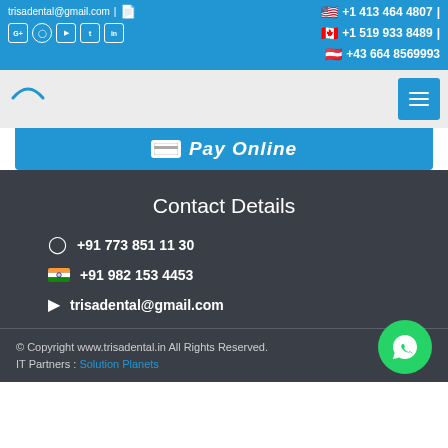trisadental@gmail.com | +1 413 464 4807 | +1 519 933 8489 | +43 664 8569993
[Figure (screenshot): Navigation bar with logo arc and hamburger menu button]
Pay Online
Contact Details
+91 773 851 1130
+91 982 153 4453
trisadental@gmail.com
© Copyright www.trisadental.in All Rights Reserved.
IT Partners : Solution Planets